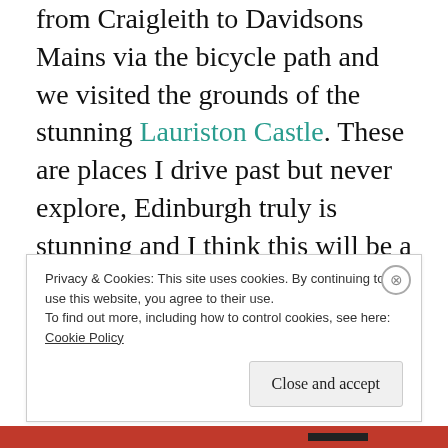from Craigleith to Davidsons Mains via the bicycle path and we visited the grounds of the stunning Lauriston Castle. These are places I drive past but never explore, Edinburgh truly is stunning and I think this will be a month of me really getting to know this city I have now called my home for the last eleven years.
Even if you can not support me with money please do support me by follow me on our
Privacy & Cookies: This site uses cookies. By continuing to use this website, you agree to their use.
To find out more, including how to control cookies, see here: Cookie Policy